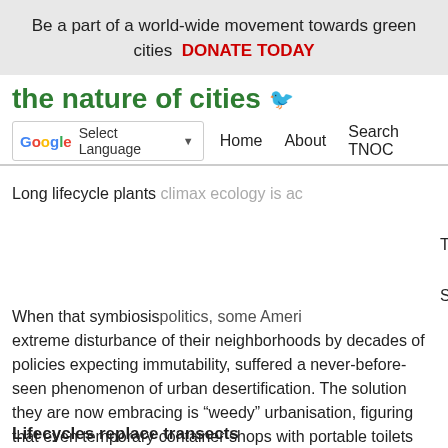Be a part of a world-wide movement towards green cities  DONATE TODAY
the nature of cities
Select Language | Home  About  Search TNOC  Explore  Arts  Events  The Just City Essays  Projects  Support TNOC
Long lifecycle plants climax ecology is ac
When that symbiosis politics, some Ameri extreme disturbance of their neighborhoods by decades of policies expecting immutability, suffered a never-before-seen phenomenon of urban desertification. The solution they are now embracing is “weedy” urbanisation, figuring that even temporary container shops with portable toilets are preferable to a cratered block. They bring life and support for neighboring growth.
Lifecycles replace transects